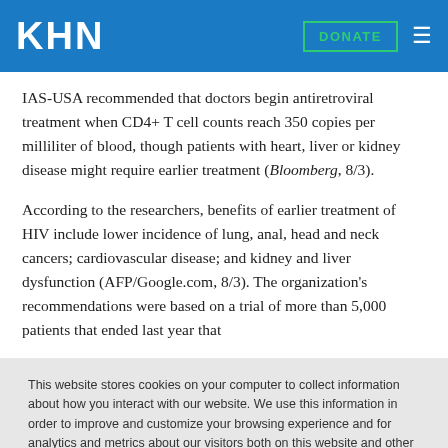KHN  DONATE
IAS-USA recommended that doctors begin antiretroviral treatment when CD4+ T cell counts reach 350 copies per milliliter of blood, though patients with heart, liver or kidney disease might require earlier treatment (Bloomberg, 8/3).
According to the researchers, benefits of earlier treatment of HIV include lower incidence of lung, anal, head and neck cancers; cardiovascular disease; and kidney and liver dysfunction (AFP/Google.com, 8/3). The organization's recommendations were based on a trial of more than 5,000 patients that ended last year that
This website stores cookies on your computer to collect information about how you interact with our website. We use this information in order to improve and customize your browsing experience and for analytics and metrics about our visitors both on this website and other media. To find out more about the cookies we use, see our Privacy Policy.